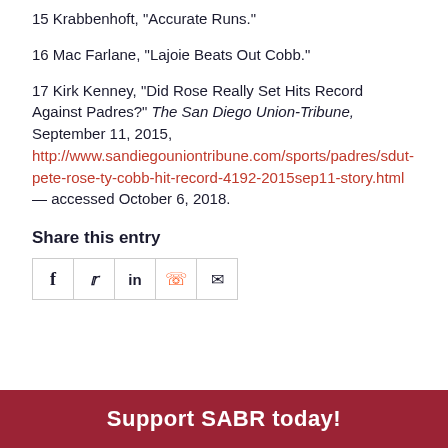15 Krabbenhoft, "Accurate Runs."
16 Mac Farlane, "Lajoie Beats Out Cobb."
17 Kirk Kenney, "Did Rose Really Set Hits Record Against Padres?" The San Diego Union-Tribune, September 11, 2015, http://www.sandiegouniontribune.com/sports/padres/sdut-pete-rose-ty-cobb-hit-record-4192-2015sep11-story.html — accessed October 6, 2018.
Share this entry
[Figure (other): Social sharing icons: Facebook, Twitter, LinkedIn, Reddit, Email]
Support SABR today!